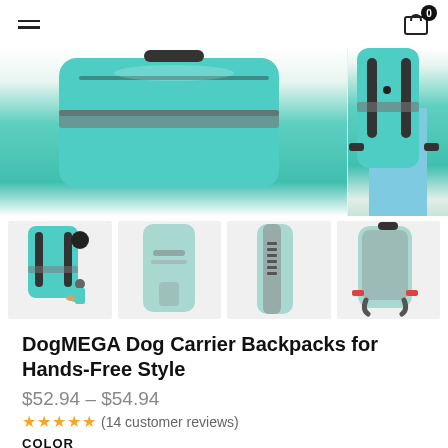≡  [cart icon] 0
[Figure (photo): Teal/turquoise dog carrier backpack shown partially from two angles: main center view shows the flat top/back surface with reflective stripe, and a side inset shows the backpack being worn on a person's back.]
[Figure (photo): Four thumbnail images of the DogMEGA dog carrier backpack: front view with harness straps shown with small dog icon, front flat view, side view, and rear view of the teal backpack.]
DogMEGA Dog Carrier Backpacks for Hands-Free Style
$52.94 – $54.94
★★★★★(14 customer reviews)
COLOR